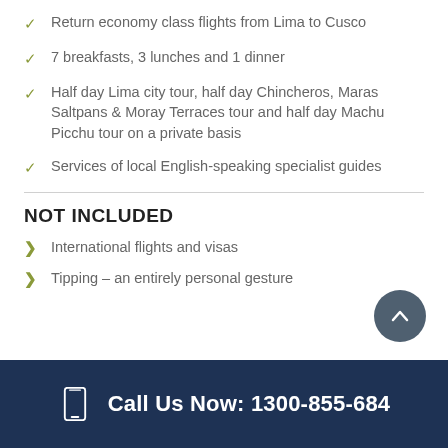Return economy class flights from Lima to Cusco
7 breakfasts, 3 lunches and 1 dinner
Half day Lima city tour, half day Chincheros, Maras Saltpans & Moray Terraces tour and half day Machu Picchu tour on a private basis
Services of local English-speaking specialist guides
Vistadome train journey from Ollantaytambo to Machu Picchu and Machu Picchu to Cusco
All relevant transfers and transportation
NOT INCLUDED
International flights and visas
Tipping – an entirely personal gesture
Call Us Now: 1300-855-684